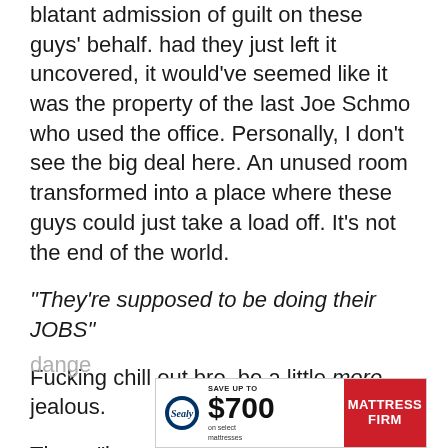blatant admission of guilt on these guys' behalf. had they just left it uncovered, it would've seemed like it was the property of the last Joe Schmo who used the office. Personally, I don't see the big deal here. An unused room transformed into a place where these guys could just take a load off. It's not the end of the world.
"They're supposed to be doing their JOBS"
Fucking chill out bro, be a little more jealous.
These "investigators" were definitely just nares other employees who weren't invited and ratted out of pure spite. If I can't have it no one can! A tad bit petty but totally understandable. Envy is a very
dange
[Figure (other): Advertisement banner for Mattress Firm: Save up to $700 on select mattresses, featuring Sealy logo]